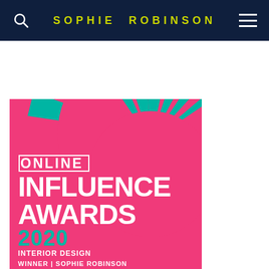SOPHIE ROBINSON
[Figure (illustration): Online Influence Awards 2020 Interior Design Winner Sophie Robinson badge. Pink background with teal sunburst rays, white bold text reading ONLINE INFLUENCE AWARDS, teal 2020, white INTERIOR DESIGN and white WINNER | SOPHIE ROBINSON.]